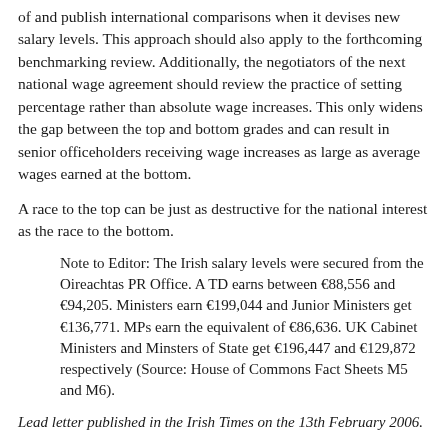of and publish international comparisons when it devises new salary levels. This approach should also apply to the forthcoming benchmarking review. Additionally, the negotiators of the next national wage agreement should review the practice of setting percentage rather than absolute wage increases. This only widens the gap between the top and bottom grades and can result in senior officeholders receiving wage increases as large as average wages earned at the bottom.
A race to the top can be just as destructive for the national interest as the race to the bottom.
Note to Editor: The Irish salary levels were secured from the Oireachtas PR Office. A TD earns between €88,556 and €94,205. Ministers earn €199,044 and Junior Ministers get €136,771. MPs earn the equivalent of €86,636. UK Cabinet Ministers and Minsters of State get €196,447 and €129,872 respectively (Source: House of Commons Fact Sheets M5 and M6).
Lead letter published in the Irish Times on the 13th February 2006.
Categories:
Dail / Politicians,